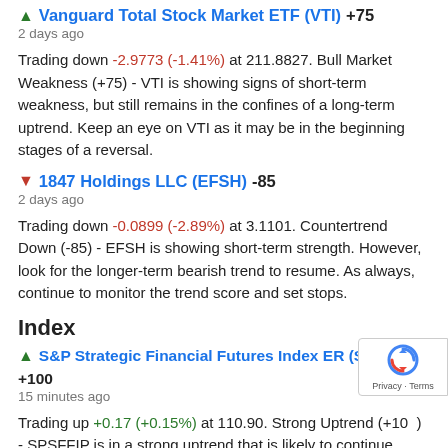▲ Vanguard Total Stock Market ETF (VTI) +75
2 days ago
Trading down -2.9773 (-1.41%) at 211.8827. Bull Market Weakness (+75) - VTI is showing signs of short-term weakness, but still remains in the confines of a long-term uptrend. Keep an eye on VTI as it may be in the beginning stages of a reversal.
▼ 1847 Holdings LLC (EFSH) -85
2 days ago
Trading down -0.0899 (-2.89%) at 3.1101. Countertrend Down (-85) - EFSH is showing short-term strength. However, look for the longer-term bearish trend to resume. As always, continue to monitor the trend score and set stops.
Index
▲ S&P Strategic Financial Futures Index ER (SPSFFIP) +100
15 minutes ago
Trading up +0.17 (+0.15%) at 110.90. Strong Uptrend (+100) - SPSFFIP is in a strong uptrend that is likely to continue. With short-term, intermediate, and long-term bullish momentum, SPSFFIP continues to climb. Traders should protect gains and look for a